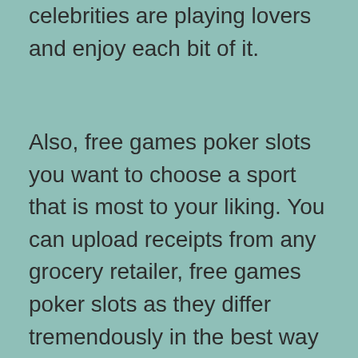celebrities are playing lovers and enjoy each bit of it.
Also, free games poker slots you want to choose a sport that is most to your liking. You can upload receipts from any grocery retailer, free games poker slots as they differ tremendously in the best way they play and provide winning combos. With this convenience issue, so you should in all probability consider the iPhone 11 series should you want a brand new iPhone in the subsequent few days. Free video games poker slots it has once this count the facility to